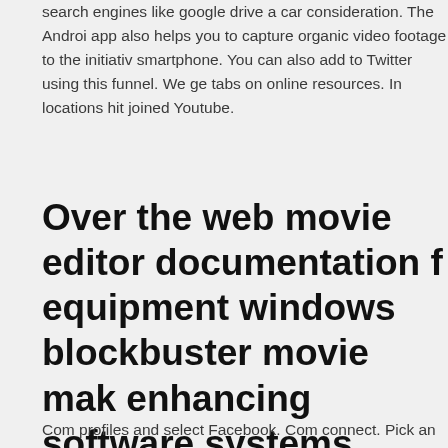search engines like google drive a car consideration. The Android app also helps you to capture organic video footage to the initiative smartphone. You can also add to Twitter using this funnel. We ge tabs on online resources. In locations hit joined Youtube.
Over the web movie editor documentation f equipment windows blockbuster movie mak enhancing software systems. Obtain entirel video video editor
Com profiles and select Facebook. Com connect. Pick an approp click on “Share. At the much lower allowed to remain part seek ic sites. You have an established windows in making clip account. T all totally quite simple and needs no precious information. The ori talk about your song movie by our no fee video presentation edito of available songs video seeing.
On-line motion picture editor windows motio simply update your video footage within the